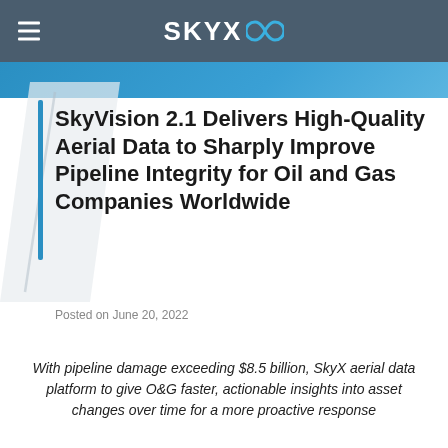SkyX (logo)
SkyVision 2.1 Delivers High-Quality Aerial Data to Sharply Improve Pipeline Integrity for Oil and Gas Companies Worldwide
Posted on June 20, 2022
With pipeline damage exceeding $8.5 billion, SkyX aerial data platform to give O&G faster, actionable insights into asset changes over time for a more proactive response